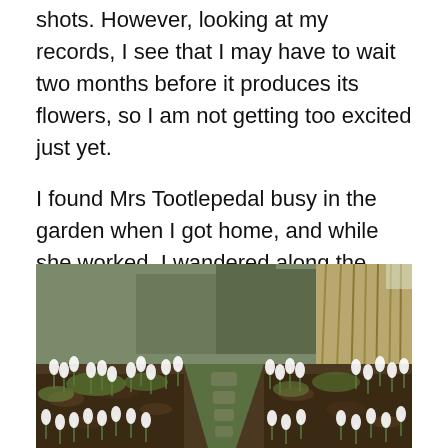shots. However, looking at my records, I see that I may have to wait two months before it produces its flowers, so I am not getting too excited just yet.
I found Mrs Tootlepedal busy in the garden when I got home, and while she worked, I wandered along the snowdrop path at the back of the garden . . .
[Figure (photo): A garden snowdrop path: a mossy stone path lined on both sides with white snowdrop flowers, with bare branches and leaf litter in the background.]